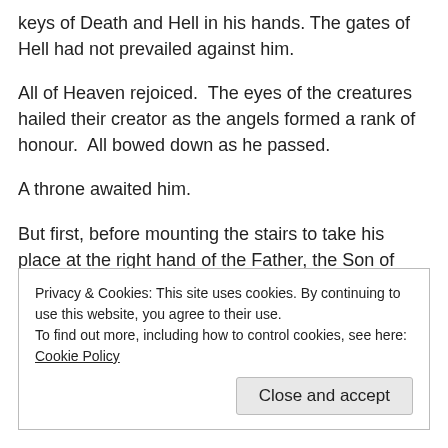keys of Death and Hell in his hands. The gates of Hell had not prevailed against him.
All of Heaven rejoiced.  The eyes of the creatures hailed their creator as the angels formed a rank of honour.  All bowed down as he passed.
A throne awaited him.
But first, before mounting the stairs to take his place at the right hand of the Father, the Son of God presented himself as the first of the harvest.
Looking ahead to the harvest of mankind that awaited, the angels sang for joy. The creatures added their voice, “Hail to the First-
Privacy & Cookies: This site uses cookies. By continuing to use this website, you agree to their use.
To find out more, including how to control cookies, see here: Cookie Policy
Close and accept